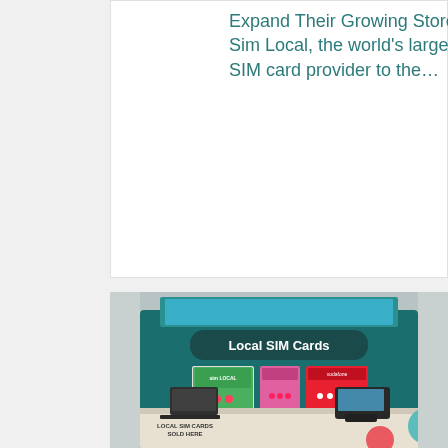Expand Their Growing Store Portfolio Sim Local, the world's largest pre-paid SIM card provider to the...
[Figure (photo): A Sim Local kiosk inside an airport or retail space, showing a counter with laptops and POS equipment, a backlit display reading 'Local SIM Cards' with sim/vodafone product panels, and a sign on the counter reading 'LOCAL SIM CARDS SOLD HERE'.]